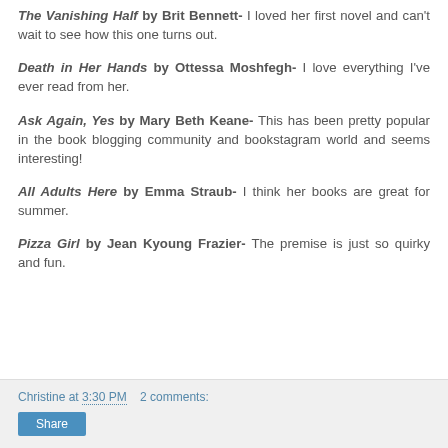The Vanishing Half by Brit Bennett- I loved her first novel and can't wait to see how this one turns out.
Death in Her Hands by Ottessa Moshfegh- I love everything I've ever read from her.
Ask Again, Yes by Mary Beth Keane- This has been pretty popular in the book blogging community and bookstagram world and seems interesting!
All Adults Here by Emma Straub- I think her books are great for summer.
Pizza Girl by Jean Kyoung Frazier- The premise is just so quirky and fun.
Christine at 3:30 PM   2 comments: